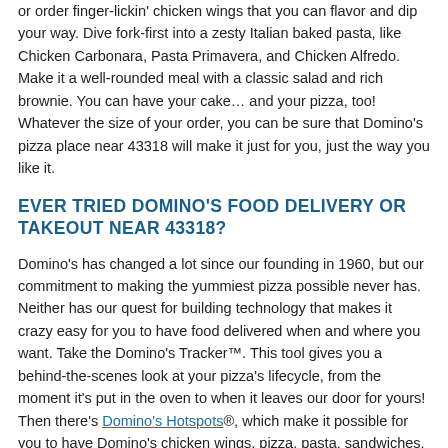or order finger-lickin' chicken wings that you can flavor and dip your way. Dive fork-first into a zesty Italian baked pasta, like Chicken Carbonara, Pasta Primavera, and Chicken Alfredo. Make it a well-rounded meal with a classic salad and rich brownie. You can have your cake… and your pizza, too! Whatever the size of your order, you can be sure that Domino's pizza place near 43318 will make it just for you, just the way you like it.
EVER TRIED DOMINO'S FOOD DELIVERY OR TAKEOUT NEAR 43318?
Domino's has changed a lot since our founding in 1960, but our commitment to making the yummiest pizza possible never has. Neither has our quest for building technology that makes it crazy easy for you to have food delivered when and where you want. Take the Domino's Tracker™. This tool gives you a behind-the-scenes look at your pizza's lifecycle, from the moment it's put in the oven to when it leaves our door for yours! Then there's Domino's Hotspots®, which make it possible for you to have Domino's chicken wings, pizza, pasta, sandwiches, and more delivered almost anywhere in De Graff — beach, pool, or park —